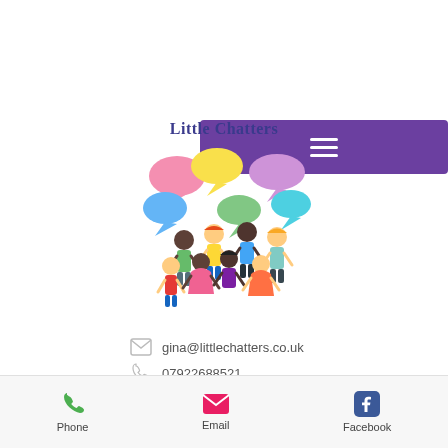[Figure (screenshot): Purple navigation bar with hamburger menu icon]
[Figure (logo): Little Chatters logo with children and speech bubbles]
gina@littlechatters.co.uk
07922688521
[Figure (infographic): Twitter and Facebook social media icon buttons]
[Figure (infographic): Bottom navigation bar with Phone, Email, Facebook icons]